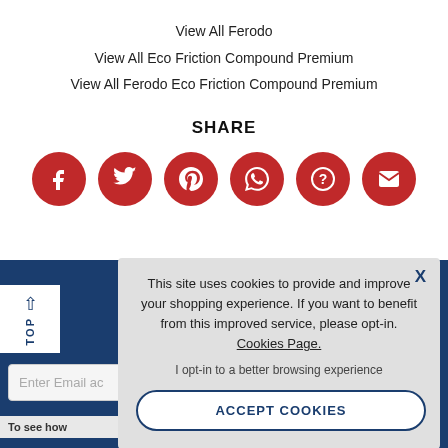View All Ferodo
View All Eco Friction Compound Premium
View All Ferodo Eco Friction Compound Premium
SHARE
[Figure (infographic): Six red circular social share buttons: Facebook, Twitter, Pinterest, WhatsApp, Question/Help, Email]
[Figure (screenshot): Cookie consent overlay with close X button, text about cookies, Cookies Page link, opt-in note, and ACCEPT COOKIES button]
This site uses cookies to provide and improve your shopping experience. If you want to benefit from this improved service, please opt-in. Cookies Page. I opt-in to a better browsing experience
ACCEPT COOKIES
Enter Email ac
To see how